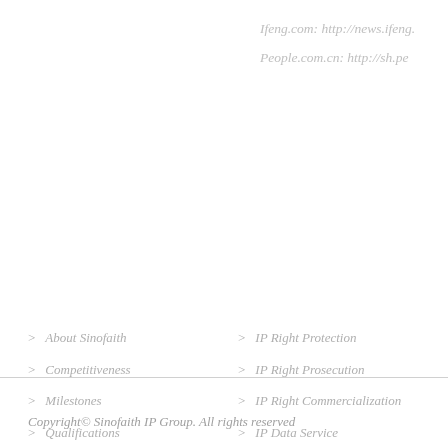Ifeng.com: http://news.ifeng...
People.com.cn: http://sh.pe...
> About Sinofaith
> Competitiveness
> Milestones
> Qualifications
> Cooperative partner
> IP Right Protection
> IP Right Prosecution
> IP Right Commercialization
> IP Data Service
> Business Consulting
Copyright© Sinofaith IP Group. All rights reserved